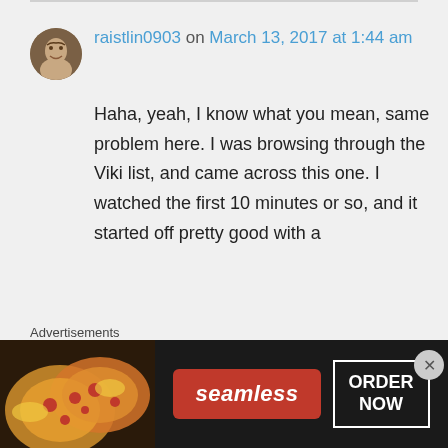raistlin0903 on March 13, 2017 at 1:44 am
Haha, yeah, I know what you mean, same problem here. I was browsing through the Viki list, and came across this one. I watched the first 10 minutes or so, and it started off pretty good with a
Advertisements
[Figure (other): Seamless food delivery advertisement banner with pizza image, Seamless logo, and ORDER NOW button]